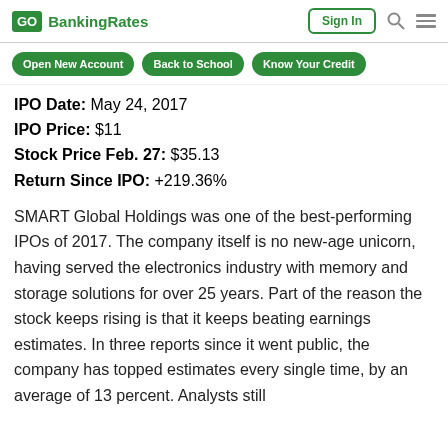GOBankingRates | Sign In
Open New Account | Back to School | Know Your Credit
IPO Date: May 24, 2017
IPO Price: $11
Stock Price Feb. 27: $35.13
Return Since IPO: +219.36%
SMART Global Holdings was one of the best-performing IPOs of 2017. The company itself is no new-age unicorn, having served the electronics industry with memory and storage solutions for over 25 years. Part of the reason the stock keeps rising is that it keeps beating earnings estimates. In three reports since it went public, the company has topped estimates every single time, by an average of 13 percent. Analysts still